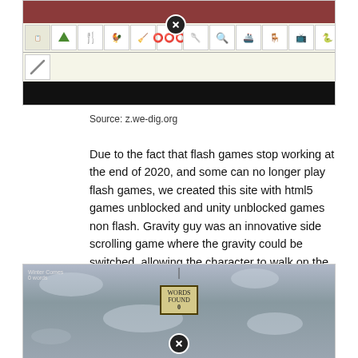[Figure (screenshot): Screenshot of a Flash game site showing a toolbar with game icons (house, fork, animals, olympic rings, magnifying glass, submarine, etc.) on a light background with a dark/black lower portion. A close button (X circle) is visible at top center.]
Source: z.we-dig.org
Due to the fact that flash games stop working at the end of 2020, and some can no longer play flash games, we created this site with html5 games unblocked and unity unblocked games non flash. Gravity guy was an innovative side scrolling game where the gravity could be switched, allowing the character to walk on the ceiling.
[Figure (screenshot): Screenshot of a game called 'Winter Comes' showing a grey cloudy sky background with a score sign showing 0, and a close button (X circle) at the bottom center.]